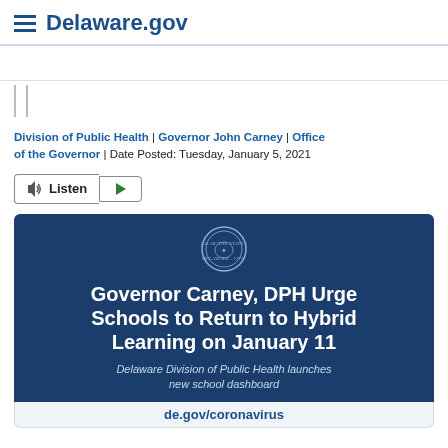Delaware.gov
Division of Public Health | Governor John Carney | Office of the Governor | Date Posted: Tuesday, January 5, 2021
[Figure (infographic): Dark navy blue announcement banner with Delaware state seal, titled 'Governor Carney, DPH Urge Schools to Return to Hybrid Learning on January 11', subtitle 'Delaware Division of Public Health launches new school dashboard', footer text 'de.gov/coronavirus']